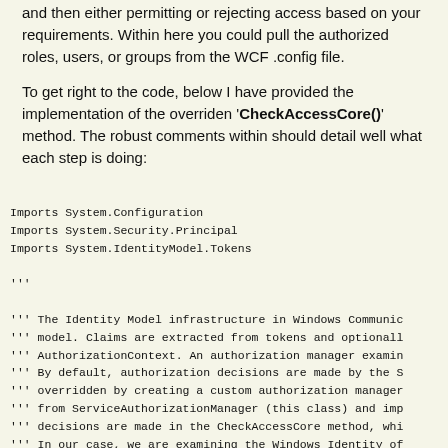and then either permitting or rejecting access based on your requirements. Within here you could pull the authorized roles, users, or groups from the WCF .config file.
To get right to the code, below I have provided the implementation of the overriden 'CheckAccessCore()' method. The robust comments within should detail well what each step is doing:
Imports System.Configuration
Imports System.Security.Principal
Imports System.IdentityModel.Tokens

'''

''' The Identity Model infrastructure in Windows Communic
''' model. Claims are extracted from tokens and optionall
''' AuthorizationContext. An authorization manager examin
''' By default, authorization decisions are made by the S
''' overridden by creating a custom authorization manager
''' from ServiceAuthorizationManager (this class) and imp
''' decisions are made in the CheckAccessCore method, whi
''' In our case, we are examining the Windows Identity of
''' permitted users and roles from the AppSettings sectio